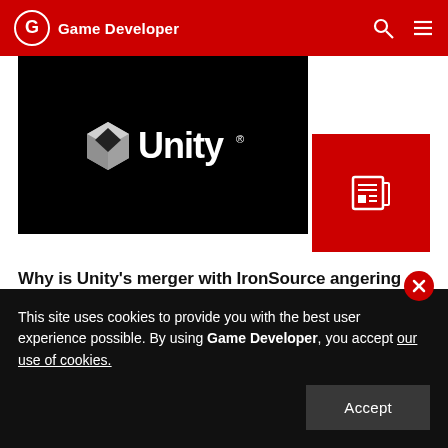Game Developer
[Figure (logo): Unity logo on black background with red corner accent and news icon]
Why is Unity's merger with IronSource angering developers?
Unity's merger with IronSource has some developers saying they're planning to switch game engines. We ask them why.
This site uses cookies to provide you with the best user experience possible. By using Game Developer, you accept our use of cookies.